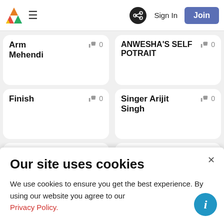Sign In | Join
Arm Mehendi
0 likes
ANWESHA'S SELF POTRAIT
0 likes
Finish
0 likes
Singer Arijit Singh
0 likes
1 like
DURGA MA
0 likes
we
look
Our site uses cookies
We use cookies to ensure you get the best experience. By using our website you agree to our Privacy Policy.